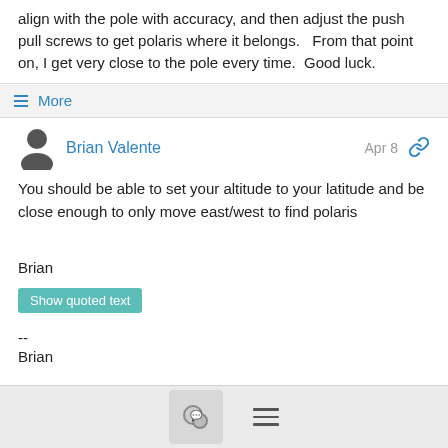align with the pole with accuracy, and then adjust the push pull screws to get polaris where it belongs.   From that point on, I get very close to the pole every time.  Good luck.
≡ More
Brian Valente
Apr 8
You should be able to set your altitude to your latitude and be close enough to only move east/west to find polaris
Brian
Show quoted text
--
Brian